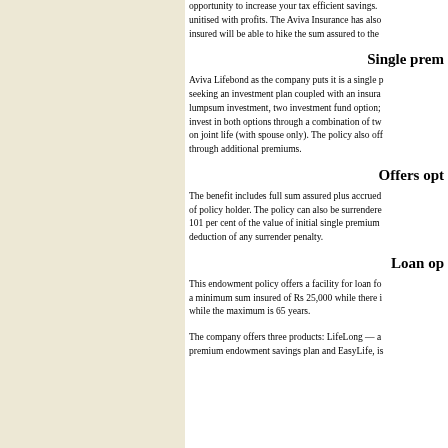opportunity to increase your tax efficient savings. unitised with profits. The Aviva Insurance has also insured will be able to hike the sum assured to the
Single prem
Aviva Lifebond as the company puts it is a single p seeking an investment plan coupled with an insura lumpsum investment, two investment fund option; invest in both options through a combination of tw on joint life (with spouse only). The policy also of through additional premiums.
Offers opt
The benefit includes full sum assured plus accrued of policy holder. The policy can also be surrendere 101 per cent of the value of initial single premium deduction of any surrender penalty.
Loan op
This endowment policy offers a facility for loan fo a minimum sum insured of Rs 25,000 while there i while the maximum is 65 years.
The company offers three products: LifeLong — a premium endowment savings plan and EasyLife, is